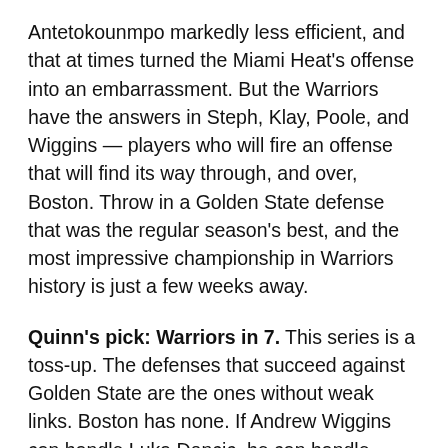Antetokounmpo markedly less efficient, and that at times turned the Miami Heat's offense into an embarrassment. But the Warriors have the answers in Steph, Klay, Poole, and Wiggins — players who will fire an offense that will find its way through, and over, Boston. Throw in a Golden State defense that was the regular season's best, and the most impressive championship in Warriors history is just a few weeks away.
Quinn's pick: Warriors in 7. This series is a toss-up. The defenses that succeed against Golden State are the ones without weak links. Boston has none. If Andrew Wiggins can handle Luka Doncic, he can handle Jayson Tatum. If Boston was afraid to go at Bam Adebayo on switches, it is going to avoid Draymond Green like the plague. Boston doesn't rebound well enough to force Golden State to play big when it doesn't want to. Gary Payton II's return is going to lead to a lot of the turnovers Miami turned into easy points last round, but the Warriors, like the Celtics, have a frustrating capacity